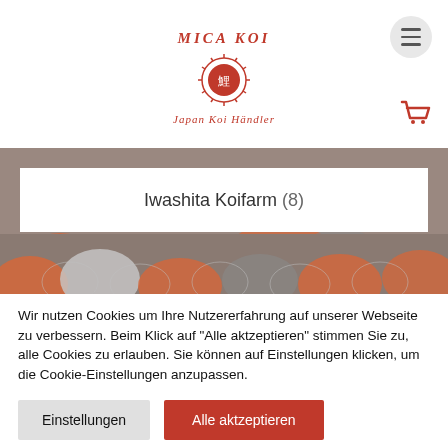[Figure (logo): Mica Koi logo with red circular emblem and text 'Japan Koi Händler']
Iwashita Koifarm (8)
[Figure (photo): Close-up of colorful koi fish scales in orange, white and grey tones]
Wir nutzen Cookies um Ihre Nutzererfahrung auf unserer Webseite zu verbessern. Beim Klick auf "Alle aktzeptieren" stimmen Sie zu, alle Cookies zu erlauben. Sie können auf Einstellungen klicken, um die Cookie-Einstellungen anzupassen.
Einstellungen
Alle aktzeptieren